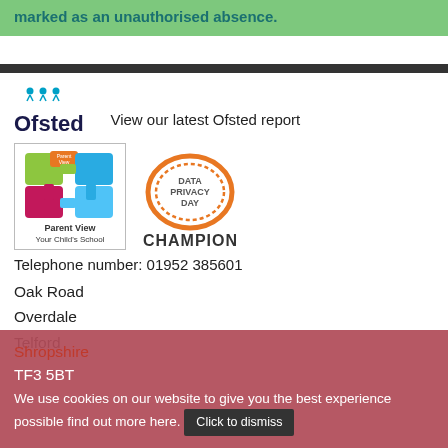marked as an unauthorised absence.
[Figure (logo): Ofsted logo with four stars and figures above text 'Ofsted']
View our latest Ofsted report
[Figure (logo): Parent View – Your Child's School logo (puzzle pieces)]
[Figure (logo): Data Privacy Day Champion logo (orange oval)]
Telephone number: 01952 385601
Oak Road
Overdale
Telford
Shropshire
TF3 5BT
We use cookies on our website to give you the best experience possible find out more here.